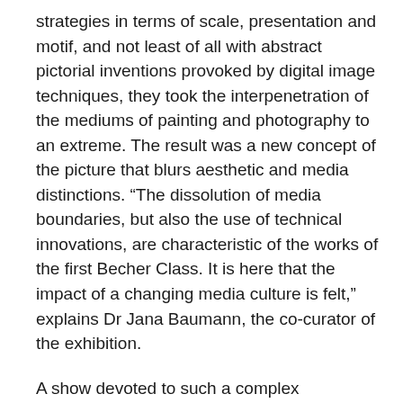strategies in terms of scale, presentation and motif, and not least of all with abstract pictorial inventions provoked by digital image techniques, they took the interpenetration of the mediums of painting and photography to an extreme. The result was a new concept of the picture that blurs aesthetic and media distinctions. “The dissolution of media boundaries, but also the use of technical innovations, are characteristic of the works of the first Becher Class. It is here that the impact of a changing media culture is felt,” explains Dr Jana Baumann, the co-curator of the exhibition.
A show devoted to such a complex phenomenon on the one hand, and such productive teaching activities on the other, must inevitably be limited in scope. “Photographs Become Pictures” concentrates deliberately on the students of the early years of the Becher Class, beginning